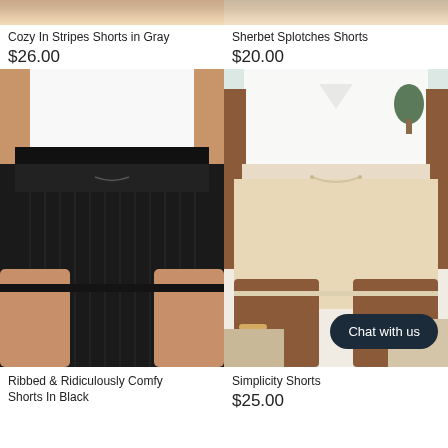[Figure (photo): Partial top view of model wearing Cozy In Stripes Shorts in Gray - cropped image showing bottom portion]
[Figure (photo): Partial top view of model wearing Sherbet Splotches Shorts - cropped image showing bottom portion]
Cozy In Stripes Shorts in Gray
$26.00
Sherbet Splotches Shorts
$20.00
[Figure (photo): Model wearing Ribbed & Ridiculously Comfy Shorts In Black - black ribbed high-waist shorts with drawstring, white top]
[Figure (photo): Model wearing Simplicity Shorts - cream/beige loose shorts with drawstring, white top, with Chat with us button overlay]
Ribbed & Ridiculously Comfy Shorts In Black
Simplicity Shorts
$25.00